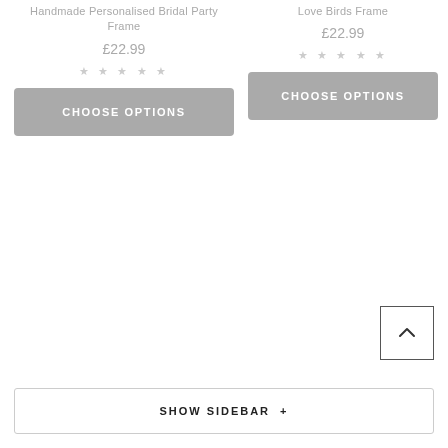Handmade Personalised Bridal Party Frame
£22.99
★ ★ ★ ★ ★
CHOOSE OPTIONS
Love Birds Frame
£22.99
★ ★ ★ ★ ★
CHOOSE OPTIONS
SHOW SIDEBAR +